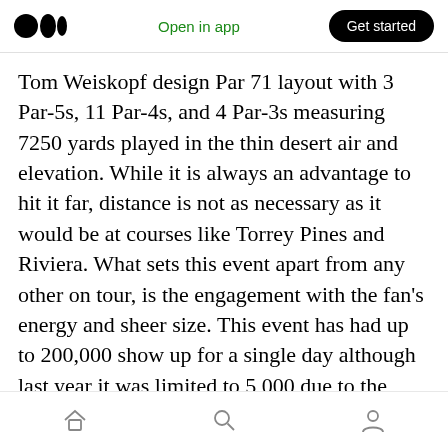Medium logo | Open in app | Get started
Tom Weiskopf design Par 71 layout with 3 Par-5s, 11 Par-4s, and 4 Par-3s measuring 7250 yards played in the thin desert air and elevation. While it is always an advantage to hit it far, distance is not as necessary as it would be at courses like Torrey Pines and Riviera. What sets this event apart from any other on tour, is the engagement with the fan's energy and sheer size. This event has had up to 200,000 show up for a single day although last year it was limited to 5,000 due to the pandemic. While the course may seem destined to be a birdie fest, a projected windy
Home | Search | Profile